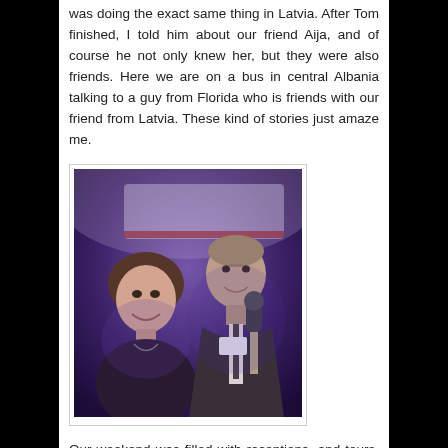was doing the exact same thing in Latvia. After Tom finished, I told him about our friend Aija, and of course he not only knew her, but they were also friends. Here we are on a bus in central Albania talking to a guy from Florida who is friends with our friend from Latvia. These kind of stories just amaze me.
[Figure (photo): Two people at an event — a woman with short brown hair smiling and a man holding a microphone, in a dimly lit venue with purple/blue lighting.]
Our weekend was filled with receptions, and tours, and updates on the projects going on in Albania, and in other parts of the world by Albanians. We also had banquets, picnics, and programs and presentations. We met with the family members of some of our Albanian friends who live in Wichita who had come to Tirana to visit us. I was pretty